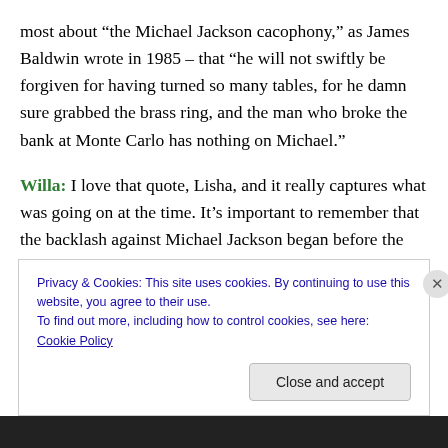most about “the Michael Jackson cacophony,” as James Baldwin wrote in 1985 – that “he will not swiftly be forgiven for having turned so many tables, for he damn sure grabbed the brass ring, and the man who broke the bank at Monte Carlo has nothing on Michael.”
Willa: I love that quote, Lisha, and it really captures what was going on at the time. It’s important to remember that the backlash against Michael Jackson began before the 1993 allegations, and it was motivated at least in part because of how he “grabbed the brass ring,” as Baldwin
Privacy & Cookies: This site uses cookies. By continuing to use this website, you agree to their use.
To find out more, including how to control cookies, see here: Cookie Policy